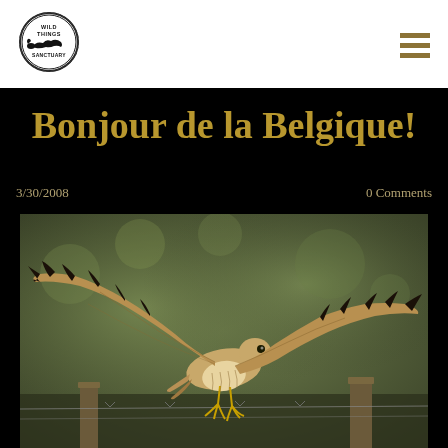[Figure (logo): Wild Things Sanctuary circular logo with animal silhouette]
Bonjour de la Belgique!
3/30/2008
0 Comments
[Figure (photo): A hawk or raptor in flight with wings spread wide, taking off from a wooden fence post, blurred green background]